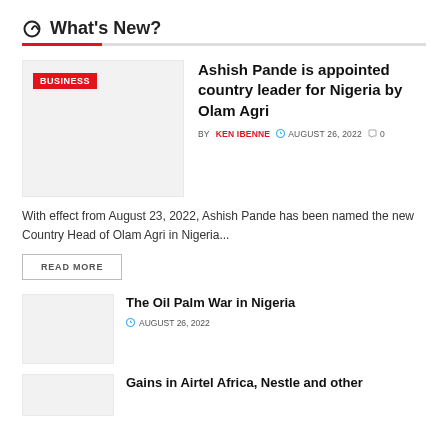What's New?
Ashish Pande is appointed country leader for Nigeria by Olam Agri
BY KEN IBENNE  AUGUST 26, 2022  0
With effect from August 23, 2022, Ashish Pande has been named the new Country Head of Olam Agri in Nigeria...
READ MORE
The Oil Palm War in Nigeria
AUGUST 26, 2022
Gains in Airtel Africa, Nestle and other